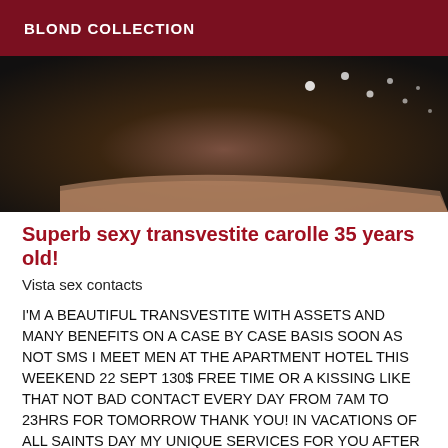BLOND COLLECTION
[Figure (photo): Dark close-up photo with light bokeh dots on dark fabric/surface]
Superb sexy transvestite carolle 35 years old!
Vista sex contacts
I'M A BEAUTIFUL TRANSVESTITE WITH ASSETS AND MANY BENEFITS ON A CASE BY CASE BASIS SOON AS NOT SMS I MEET MEN AT THE APARTMENT HOTEL THIS WEEKEND 22 SEPT 130$ FREE TIME OR A KISSING LIKE THAT NOT BAD CONTACT EVERY DAY FROM 7AM TO 23HRS FOR TOMORROW THANK YOU! IN VACATIONS OF ALL SAINTS DAY MY UNIQUE SERVICES FOR YOU AFTER MIDDAY VERY HOT IN THE HOTEL VERY CLASS SEVERAL ALSO AT